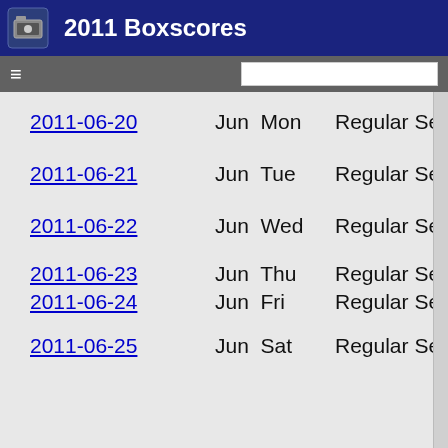2011 Boxscores
2011-06-20  Jun Mon  Regular Season  10
2011-06-21  Jun Tue  Regular Season  14
2011-06-22  Jun Wed  Regular Season  16
2011-06-23  Jun Thu  Regular Season  5
2011-06-24  Jun Fri  Regular Season  15
2011-06-25  Jun Sat  Regular Season  15